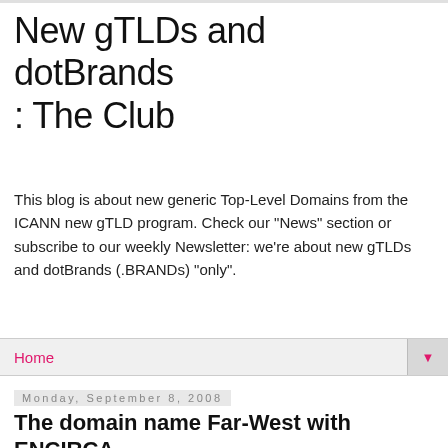New gTLDs and dotBrands : The Club
This blog is about new generic Top-Level Domains from the ICANN new gTLD program. Check our "News" section or subscribe to our weekly Newsletter: we're about new gTLDs and dotBrands (.BRANDs) "only".
Home ▼
Monday, September 8, 2008
The domain name Far-West with ENCIRCA
I recently received a letter, sent September the 3rd, from the Registrar ENCIRCA who is fighting hard to find reasons not to let me become Registrant of a domain name a purchase with their PRO Fenn disc creation.